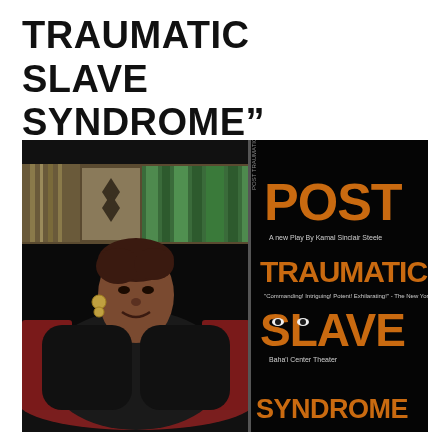TRAUMATIC SLAVE SYNDROME”
[Figure (photo): Left side: photo of a Black woman smiling, wearing a black blazer, seated on a red couch with African art/textiles in background. Right side: theatrical poster for 'Post Traumatic Slave Syndrome', a play by Kamal Sinclair Steele, with orange large letters on black background, text including 'Commanding! Intriguing! Potent! Exhilarating! - The New York Times' and 'Baha'i Center Theater'.]